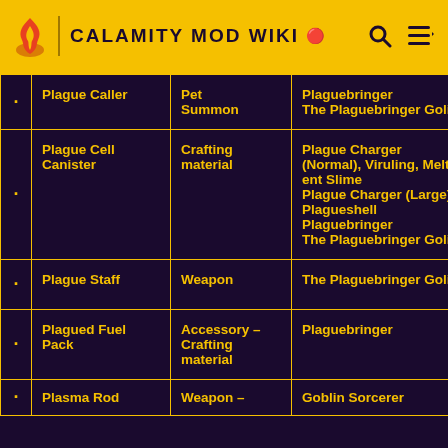CALAMITY MOD WIKI
|  | Item | Type | Obtained from |
| --- | --- | --- | --- |
| · | Plague Caller | Pet Summon | Plaguebringer
The Plaguebringer Goliath |
| · | Plague Cell Canister | Crafting material | Plague Charger (Normal), Viruling, Meltent Slime
Plague Charger (Large)
Plagueshell
Plaguebringer
The Plaguebringer Goliath |
| · | Plague Staff | Weapon | The Plaguebringer Goliath |
| · | Plagued Fuel Pack | Accessory - Crafting material | Plaguebringer |
| · | Plasma Rod | Weapon - | Goblin Sorcerer |